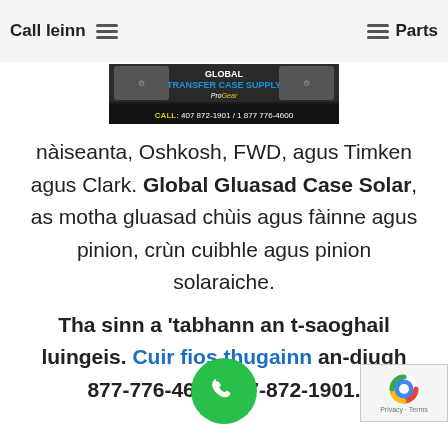Call leinn | Parts
[Figure (logo): Global Transfer Case Supply ProGear banner with transfer case images and phone numbers: CALL: 407 872-1901 / 1 877 776-4600]
nàiseanta, Oshkosh, FWD, agus Timken agus Clark. Global Gluasad Case Solar, as motha gluasad chùis agus fàinne agus pinion, crùn cuibhle agus pinion solaraiche.
Tha sinn a 'tabhann an t-saoghail luingeis. Cuir fios thugainn an-diugh 877-776-4600 / 07-872-1901.
[Figure (illustration): Green circular phone call button icon]